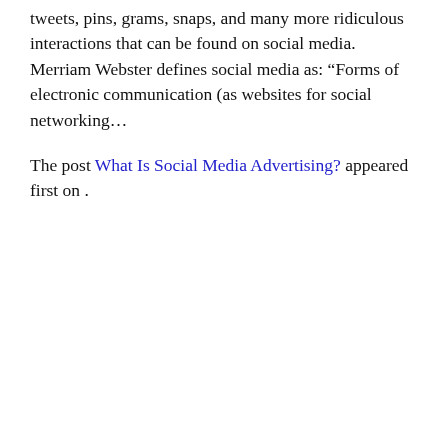tweets, pins, grams, snaps, and many more ridiculous interactions that can be found on social media. Merriam Webster defines social media as: “Forms of electronic communication (as websites for social networking…
The post What Is Social Media Advertising? appeared first on .